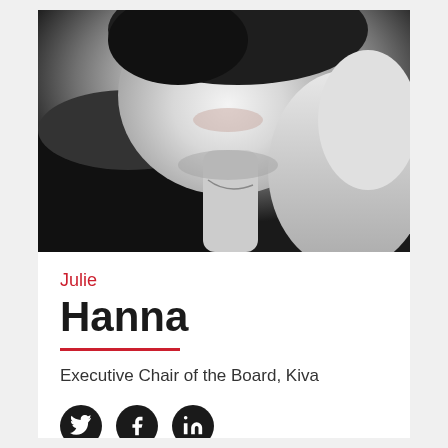[Figure (photo): Black and white close-up portrait photograph of a woman resting her chin/cheek on her hand, wearing a dark jacket and a necklace, with dark hair]
Julie
Hanna
Executive Chair of the Board, Kiva
[Figure (other): Social media icons: Twitter bird, Facebook f, LinkedIn in — all in black circles]